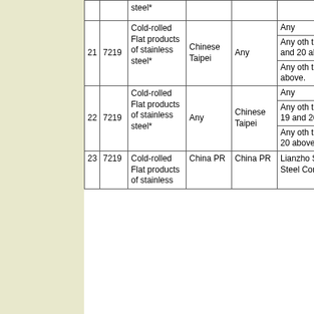|  |  | Product | Country of Origin | Country of Export | Producer/Exporter |
| --- | --- | --- | --- | --- | --- |
|  |  | steel* |  |  |  |
| 21 | 7219 | Cold-rolled Flat products of stainless steel* | Chinese Taipei | Any | Any
Any other than at no. 19 and 20 above.
Any other than at no. 20 above. |
| 22 | 7219 | Cold-rolled Flat products of stainless steel* | Any | Chinese Taipei | Any
Any other than at s no. 19 and 20 above.
Any other than at s no. 20 above. |
| 23 | 7219 | Cold-rolled Flat products of stainless | China PR | China PR | Lianzho Stainless Steel Corp |